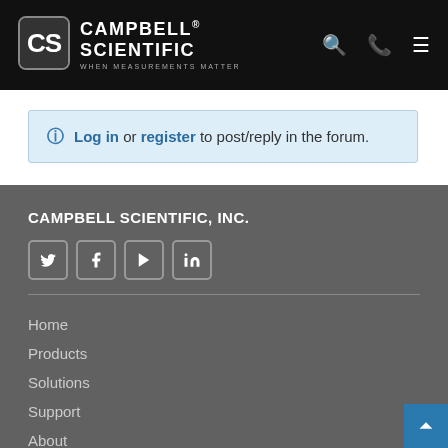[Figure (logo): Campbell Scientific logo with shield emblem and text 'CAMPBELL SCIENTIFIC - When Measurements Matter' on black header bar with search, phone, and menu icons]
Log in or register to post/reply in the forum.
CAMPBELL SCIENTIFIC, INC.
[Figure (illustration): Social media icons: Twitter, Facebook, YouTube, LinkedIn]
Home
Products
Solutions
Support
About